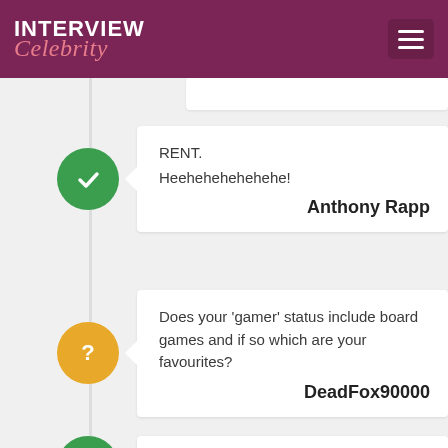INTERVIEW Celebrity
RENT.
Heehehehehehehe!
Anthony Rapp
Does your 'gamer' status include board games and if so which are your favourites?
DeadFox90000
I mean, it has a little, but not much in a long time.
I mean, growing up I played RISK and Monopoly -